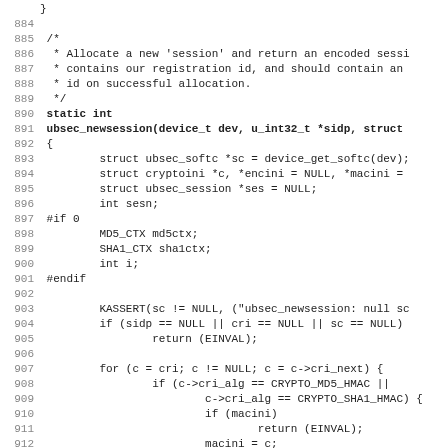Source code listing lines 883-915, C function ubsec_newsession with preprocessor directives and variable declarations